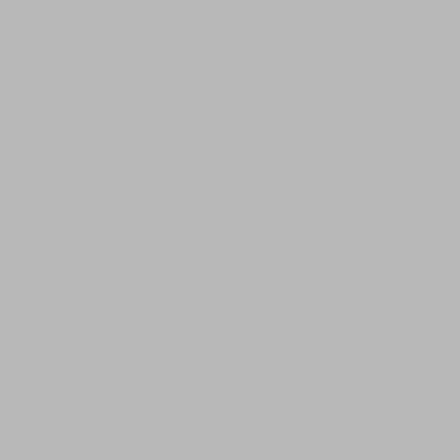Lawyer American Legion Asks: How Good is American Air Power Armchair Detective: The Case of the Unlikely Suicide
018 ABC's of OTR "A" Pt. 18